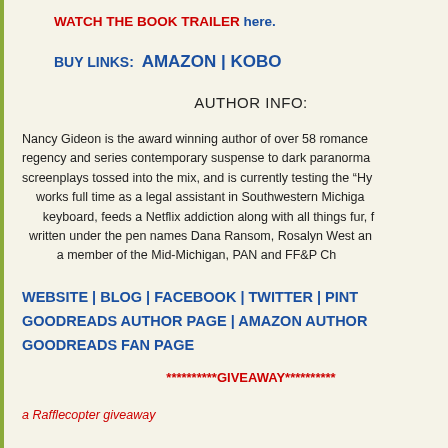WATCH THE BOOK TRAILER here.
BUY LINKS:  AMAZON | KOBO
AUTHOR INFO:
Nancy Gideon is the award winning author of over 58 romance regency and series contemporary suspense to dark paranorma screenplays tossed into the mix, and is currently testing the "Hy works full time as a legal assistant in Southwestern Michiga keyboard, feeds a Netflix addiction along with all things fur, f written under the pen names Dana Ransom, Rosalyn West and a member of the Mid-Michigan, PAN and FF&P Cha
WEBSITE | BLOG | FACEBOOK | TWITTER | PINT GOODREADS AUTHOR PAGE | AMAZON AUTHOR GOODREADS FAN PAGE
**********GIVEAWAY**********
a Rafflecopter giveaway